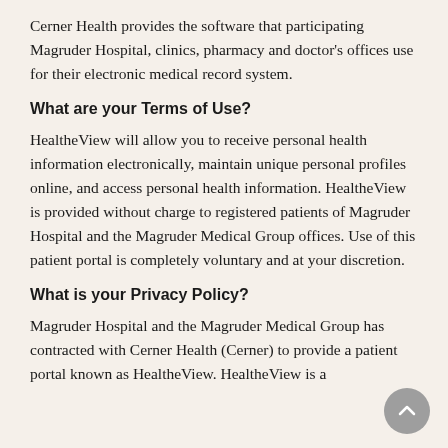Cerner Health provides the software that participating Magruder Hospital, clinics, pharmacy and doctor's offices use for their electronic medical record system.
What are your Terms of Use?
HealtheView will allow you to receive personal health information electronically, maintain unique personal profiles online, and access personal health information. HealtheView is provided without charge to registered patients of Magruder Hospital and the Magruder Medical Group offices. Use of this patient portal is completely voluntary and at your discretion.
What is your Privacy Policy?
Magruder Hospital and the Magruder Medical Group has contracted with Cerner Health (Cerner) to provide a patient portal known as HealtheView. HealtheView is a